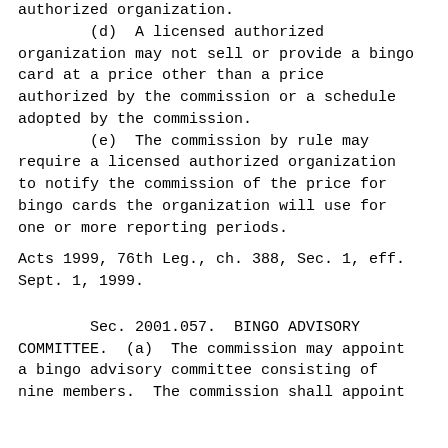authorized organization.
        (d)  A licensed authorized organization may not sell or provide a bingo card at a price other than a price authorized by the commission or a schedule adopted by the commission.
        (e)  The commission by rule may require a licensed authorized organization to notify the commission of the price for bingo cards the organization will use for one or more reporting periods.

Acts 1999, 76th Leg., ch. 388, Sec. 1, eff. Sept. 1, 1999.


        Sec. 2001.057.  BINGO ADVISORY COMMITTEE.  (a)  The commission may appoint a bingo advisory committee consisting of nine members.  The commission shall appoint one or more than one of its members...